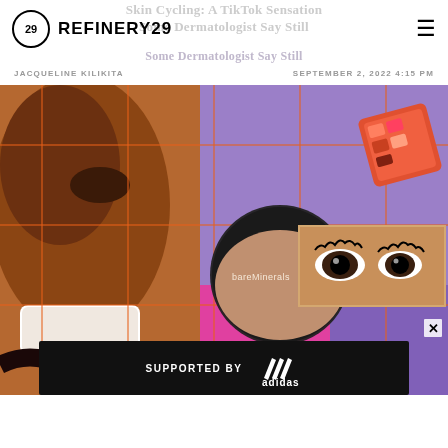Skin Cycling: A TikTok Sensation
Some Dermatologist Say Still
REFINERY29
JACQUELINE KILIKITA        SEPTEMBER 2, 2022 4:15 PM
[Figure (photo): Collage photo featuring a smiling woman with a nose ring, bareMinerals makeup powder, a close-up of eyes with dramatic lashes, a pink/purple color-blocked grid background with orange overlay lines, and a makeup palette in the upper right corner.]
SUPPORTED BY adidas